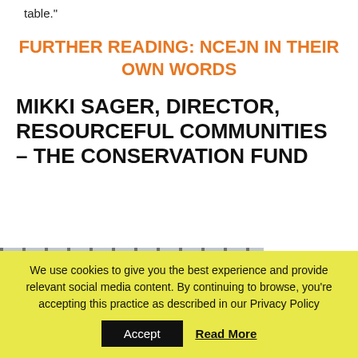table."
FURTHER READING: NCEJN IN THEIR OWN WORDS
MIKKI SAGER, DIRECTOR, RESOURCEFUL COMMUNITIES – THE CONSERVATION FUND
[Figure (photo): Portrait photo of a person with dark curly hair in front of vertical blinds or bars]
Despite the
We use cookies to give you the best experience and provide relevant social media content. By continuing to browse, you're accepting this practice as described in our Privacy Policy
Accept
Read More